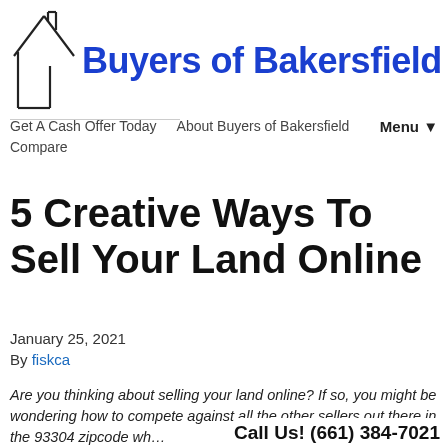[Figure (logo): Buyers of Bakersfield logo: house outline SVG with bold blue text 'Buyers of Bakersfield']
Get A Cash Offer Today   About Buyers of Bakersfield   Compare   Menu ▼
5 Creative Ways To Sell Your Land Online
January 25, 2021
By fiskca
Are you thinking about selling your land online? If so, you might be wondering how to compete against all the other sellers out there in the 93304 zipcode wh…
Call Us! (661) 384-7021